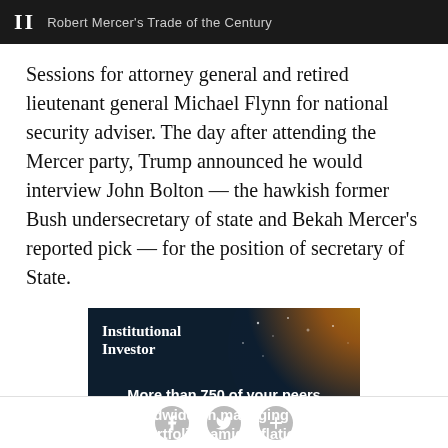II  Robert Mercer's Trade of the Century
Sessions for attorney general and retired lieutenant general Michael Flynn for national security adviser. The day after attending the Mercer party, Trump announced he would interview John Bolton — the hawkish former Bush undersecretary of state and Bekah Mercer's reported pick — for the position of secretary of State.
[Figure (other): Institutional Investor advertisement with dark background showing partial globe/sphere. Text reads: 'More than 750 of your peers worldwide on managing their portfolios amid inflation, market volatility, geopolitical [cut off]']
Social share icons: Facebook, Twitter, Plus